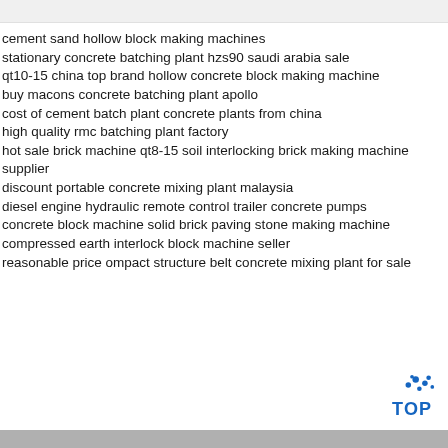cement sand hollow block making machines
stationary concrete batching plant hzs90 saudi arabia sale
qt10-15 china top brand hollow concrete block making machine
buy macons concrete batching plant apollo
cost of cement batch plant concrete plants from china
high quality rmc batching plant factory
hot sale brick machine qt8-15 soil interlocking brick making machine supplier
discount portable concrete mixing plant malaysia
diesel engine hydraulic remote control trailer concrete pumps
concrete block machine solid brick paving stone making machine
compressed earth interlock block machine seller
reasonable price ompact structure belt concrete mixing plant for sale